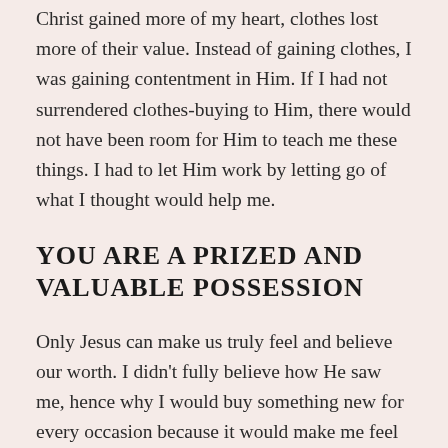Christ gained more of my heart, clothes lost more of their value. Instead of gaining clothes, I was gaining contentment in Him. If I had not surrendered clothes-buying to Him, there would not have been room for Him to teach me these things. I had to let Him work by letting go of what I thought would help me.
YOU ARE A PRIZED AND VALUABLE POSSESSION
Only Jesus can make us truly feel and believe our worth. I didn't fully believe how He saw me, hence why I would buy something new for every occasion because it would make me feel special. That feeling lasts just a moment and leads to more buying in the attempt to feel special again. Jesus can make us feel special in every moment, so much so that the “need” for looking nice can disappear and be replaced with contentment with what we have and what He has given us.